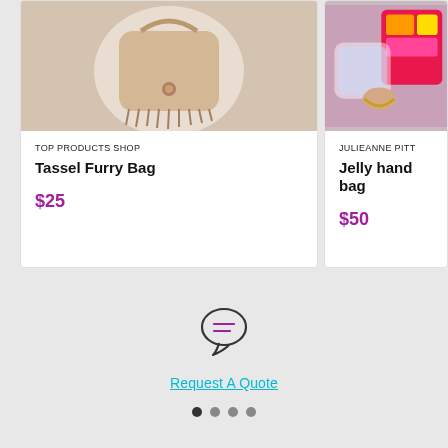[Figure (photo): Photo of a tassel furry bag on a round surface, beige/tan color]
TOP PRODUCTS SHOP
Tassel Furry Bag
$25
[Figure (photo): Photo of a jelly hand bag with bright pink/colorful background]
JULIEANNE PITT
Jelly hand bag
$50
[Figure (illustration): Chat bubble icon with two horizontal lines inside, indicating messaging or quote request]
Request A Quote